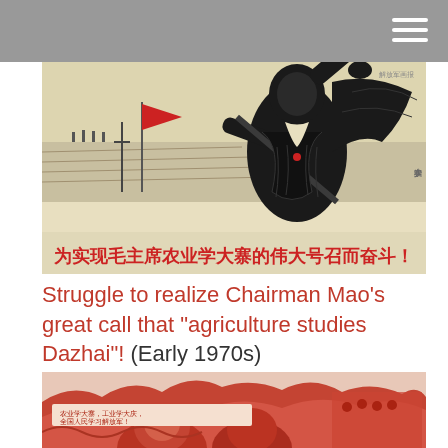[Figure (illustration): Chinese propaganda woodblock print poster showing a figure holding agricultural tools with a red flag, mountains and fields in background, with red Chinese text at bottom reading: 为实现毛主席农业学大寨的伟大号召而奋斗！]
Struggle to realize Chairman Mao's great call that "agriculture studies Dazhai"! (Early 1970s)
[Figure (illustration): Chinese propaganda poster in red tones showing figures and landscape with Chinese text, partially cropped at bottom of page.]